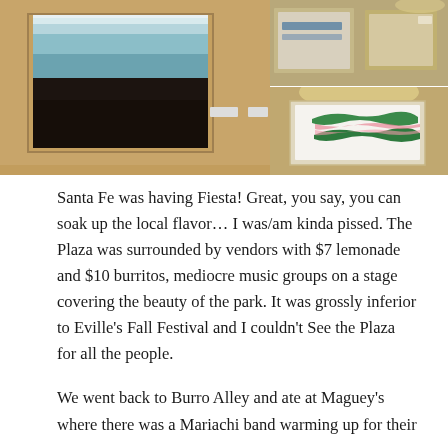[Figure (photo): Left: art gallery wall showing a large painting with dark lower half and blue/teal upper half bands. Top right: partial view of framed artworks on a wall. Bottom right: gallery wall with a framed painting featuring green and pink abstract shapes on white background.]
Santa Fe was having Fiesta!  Great, you say, you can soak up the local flavor…  I was/am kinda pissed.  The Plaza was surrounded by vendors with $7 lemonade and $10 burritos, mediocre music groups on a stage covering the beauty of the park.  It was grossly inferior to Eville's Fall Festival and I couldn't See the Plaza for all the people.
We went back to Burro Alley and ate at Maguey's where there was a Mariachi band warming up for their